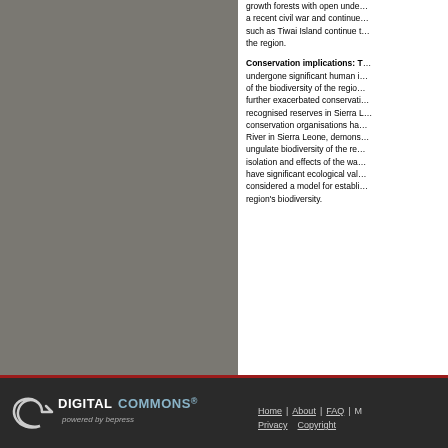growth forests with open understory, have recently suffered a recent civil war and continued exploitation. Protected areas such as Tiwai Island continue to harbour the biodiversity of the region.
Conservation implications: The study area has undergone significant human impact, yet its documentation of the biodiversity of the region is important. Wars have further exacerbated conservation problems. Few internationally recognised reserves in Sierra Leone exist, but local conservation organisations have worked along the Moa River in Sierra Leone, demonstrating the primate and ungulate biodiversity of the region despite its relative isolation and effects of the war. The Tiwai Island reserve have significant ecological value and could be considered a model for establishing additional reserves for the region's biodiversity.
Home | About | FAQ | M... Privacy Copyright